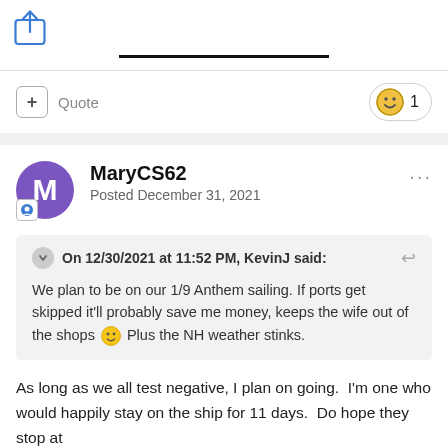[Figure (illustration): Share/export icon (blue outlined box with upward arrow)]
—
+ Quote   [reaction emoji] 1
MaryCS62
Posted December 31, 2021
On 12/30/2021 at 11:52 PM, KevinJ said:
We plan to be on our 1/9 Anthem sailing. If ports get skipped it'll probably save me money, keeps the wife out of the shops 🙂 Plus the NH weather stinks.
As long as we all test negative, I plan on going.  I'm one who would happily stay on the ship for 11 days.  Do hope they stop at